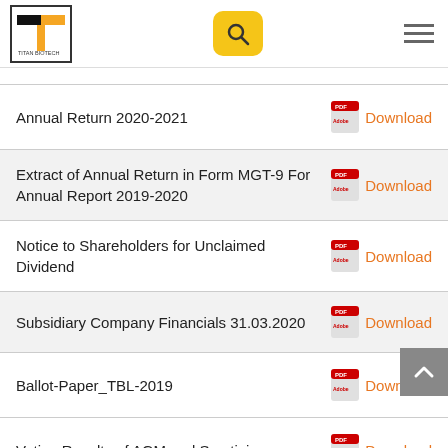Titan Biotech navigation header with logo, search button, and menu
Annual Return 2020-2021 — Download
Extract of Annual Return in Form MGT-9 For Annual Report 2019-2020 — Download
Notice to Shareholders for Unclaimed Dividend — Download
Subsidiary Company Financials 31.03.2020 — Download
Ballot-Paper_TBL-2019 — Download
Voting Results of AGM and Scrutiniser — Download